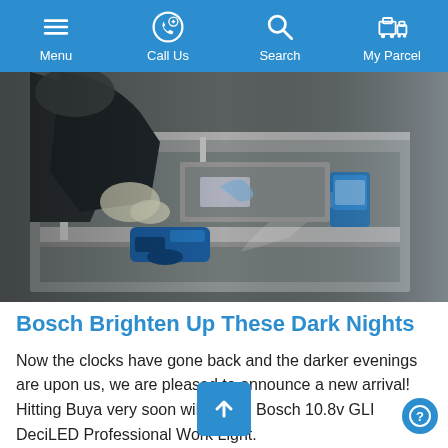Menu | Call Us | Search | My Parcel
[Figure (photo): A person wearing gloves and dark work clothing working inside a metal tool case or equipment box. Blue Bosch power tools including a drill/driver are visible inside the metallic case. A Bosch GLI DeciLED work light is mounted on the side of the case illuminating the interior.]
Bosch Brighten Up These Dark Nights
Now the clocks have gone back and the darker evenings are upon us, we are pleased to announce a new arrival! Hitting Buya very soon will be the Bosch 10.8v GLI DeciLED Professional Work Light.